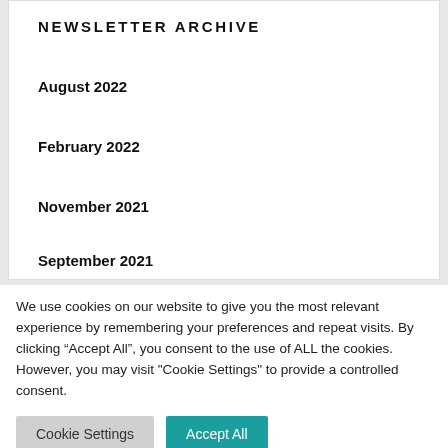NEWSLETTER ARCHIVE
August 2022
February 2022
November 2021
September 2021
We use cookies on our website to give you the most relevant experience by remembering your preferences and repeat visits. By clicking “Accept All”, you consent to the use of ALL the cookies. However, you may visit "Cookie Settings" to provide a controlled consent.
Cookie Settings | Accept All